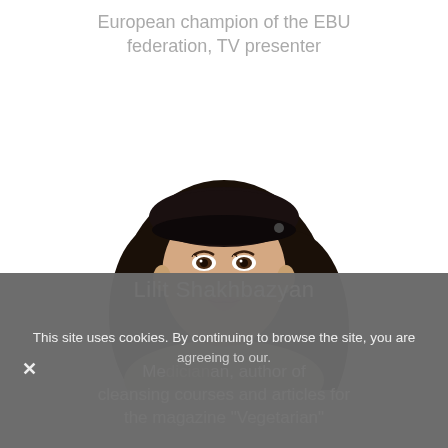European champion of the EBU federation, TV presenter
[Figure (photo): Portrait photo of a young woman with long dark wavy hair wearing a black beret-style cap and a beige turtleneck sweater, against a white background.]
Lilit Shakhbazyan
Medician, author of cleansing courses and articles for the magazine "Vegetarian"
This site uses cookies. By continuing to browse the site, you are agreeing to our.